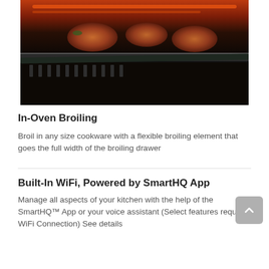[Figure (photo): Photo of meat being broiled inside an oven, showing food on a grill rack with glowing broiler element above and dark oven interior below]
In-Oven Broiling
Broil in any size cookware with a flexible broiling element that goes the full width of the broiling drawer
Built-In WiFi, Powered by SmartHQ App
Manage all aspects of your kitchen with the help of the SmartHQ™ App or your voice assistant (Select features require WiFi Connection) See details